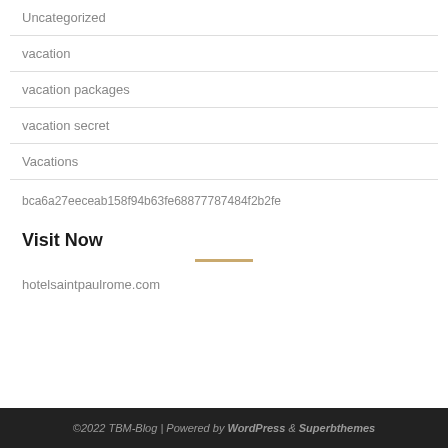Uncategorized
vacation
vacation packages
vacation secret
Vacations
bca6a27eeceab158f94b63fe68877787484f2b2fe
Visit Now
hotelsaintpaulrome.com
©2022 TBM-Blog | Powered by WordPress & Superbthemes